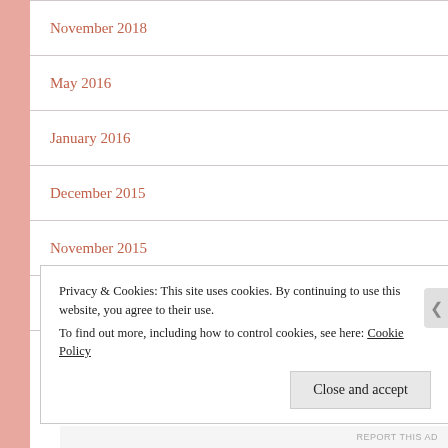November 2018
May 2016
January 2016
December 2015
November 2015
October 2015
Privacy & Cookies: This site uses cookies. By continuing to use this website, you agree to their use.
To find out more, including how to control cookies, see here: Cookie Policy
Close and accept